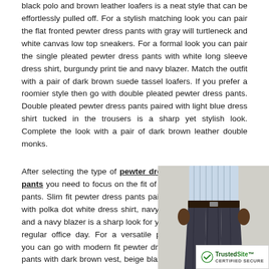black polo and brown leather loafers is a neat style that can be effortlessly pulled off. For a stylish matching look you can pair the flat fronted pewter dress pants with gray will turtleneck and white canvas low top sneakers. For a formal look you can pair the single pleated pewter dress pants with white long sleeve dress shirt, burgundy print tie and navy blazer. Match the outfit with a pair of dark brown suede tassel loafers. If you prefer a roomier style then go with double pleated pewter dress pants. Double pleated pewter dress pants paired with light blue dress shirt tucked in the trousers is a sharp yet stylish look. Complete the look with a pair of dark brown leather double monks.
After selecting the type of pewter dress pants you need to focus on the fit of the pants. Slim fit pewter dress pants paired with polka dot white dress shirt, navy tie and a navy blazer is a sharp look for your regular office day. For a versatile pick you can go with modern fit pewter dress pants with dark brown vest, beige blazer, white dress shirt and print brown tie. Complete the
[Figure (photo): A man wearing pewter/dark dress pants with a light blue striped dress shirt, shown from approximately waist down, displaying the trousers. A TrustedSite certified secure badge appears in the bottom right corner.]